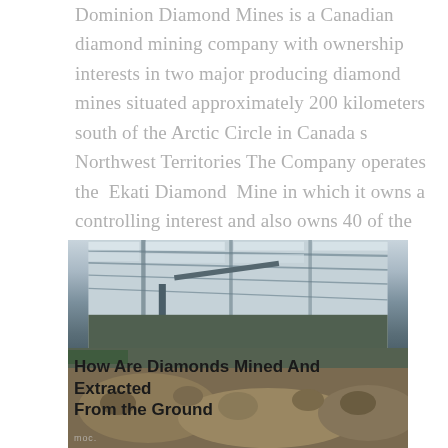Dominion Diamond Mines is a Canadian diamond mining company with ownership interests in two major producing diamond mines situated approximately 200 kilometers south of the Arctic Circle in Canada s Northwest Territories The Company operates the Ekati Diamond Mine in which it owns a controlling interest and also owns 40 of the Diavik
[Figure (photo): Interior photograph of a large industrial mining facility or processing plant with steel roof trusses and conveyor equipment, with rubble/ore mounds in the foreground. Overlaid title text reads 'How Are Diamonds Mined And Extracted From the Ground'.]